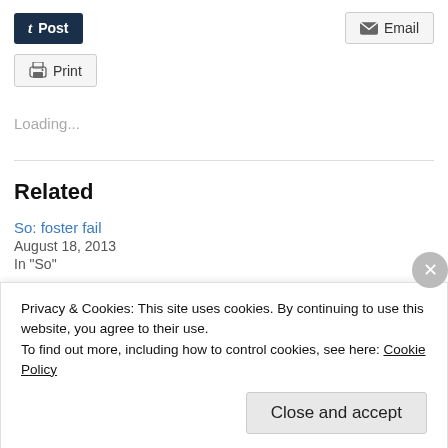[Figure (screenshot): Post button with Tumblr-style 't' icon on dark navy background]
[Figure (screenshot): Email button with envelope icon]
[Figure (screenshot): Print button with printer icon]
Loading...
Related
So: foster fail
August 18, 2013
In "So"
So: house guest
Privacy & Cookies: This site uses cookies. By continuing to use this website, you agree to their use.
To find out more, including how to control cookies, see here: Cookie Policy
Close and accept